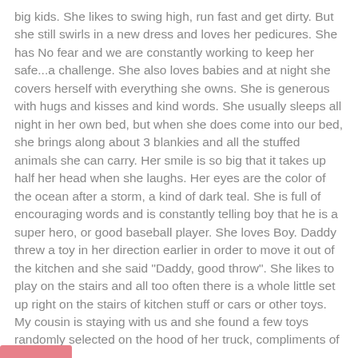big kids. She likes to swing high, run fast and get dirty. But she still swirls in a new dress and loves her pedicures. She has No fear and we are constantly working to keep her safe...a challenge. She also loves babies and at night she covers herself with everything she owns. She is generous with hugs and kisses and kind words. She usually sleeps all night in her own bed, but when she does come into our bed, she brings along about 3 blankies and all the stuffed animals she can carry. Her smile is so big that it takes up half her head when she laughs. Her eyes are the color of the ocean after a storm, a kind of dark teal. She is full of encouraging words and is constantly telling boy that he is a super hero, or good baseball player. She loves Boy. Daddy threw a toy in her direction earlier in order to move it out of the kitchen and she said "Daddy, good throw". She likes to play on the stairs and all too often there is a whole little set up right on the stairs of kitchen stuff or cars or other toys. My cousin is staying with us and she found a few toys randomly selected on the hood of her truck, compliments of Bluebird.
TheLFamily at 7:33 PM    No comments: